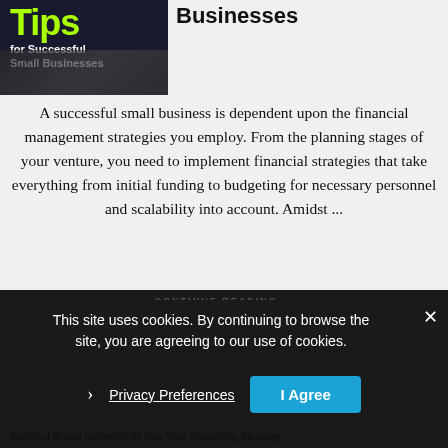[Figure (illustration): Book cover with 'Tips for Successful Small Businesses' text on dark background with money imagery]
Businesses
A successful small business is dependent upon the financial management strategies you employ. From the planning stages of your venture, you need to implement financial strategies that take everything from initial funding to budgeting for necessary personnel and scalability into account. Amidst ...
CONTINUE READING →
This site uses cookies. By continuing to browse the site, you are agreeing to our use of cookies.
Privacy Preferences
I Agree
Building Brand Authenticity Into Your Marketing Strategy